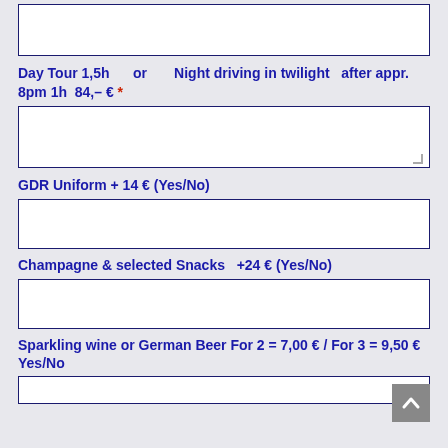[empty input box at top]
Day Tour 1,5h    or    Night driving in twilight  after appr. 8pm 1h  84,– € *
[empty input box]
GDR Uniform + 14 € (Yes/No)
[empty input box]
Champagne & selected Snacks  +24 € (Yes/No)
[empty input box]
Sparkling wine or German Beer For 2 = 7,00 € / For 3 = 9,50 € Yes/No
[partial empty input box at bottom]